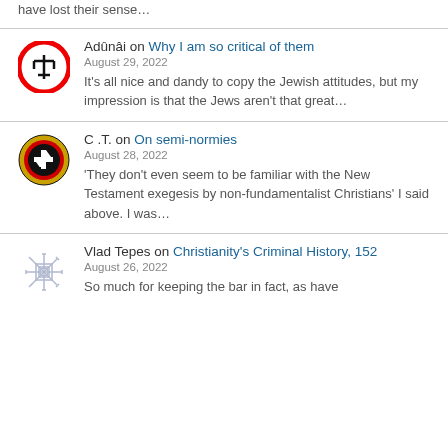have lost their sense…
Adûnâi on Why I am so critical of them
August 29, 2022
It's all nice and dandy to copy the Jewish attitudes, but my impression is that the Jews aren't that great…
C .T. on On semi-normies
August 28, 2022
'They don't even seem to be familiar with the New Testament exegesis by non-fundamentalist Christians' I said above. I was…
Vlad Tepes on Christianity's Criminal History, 152
August 26, 2022
So much for keeping the bar in fact, as have